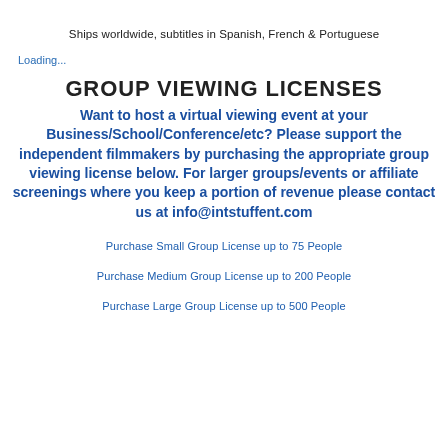Ships worldwide, subtitles in Spanish, French & Portuguese
Loading...
GROUP VIEWING LICENSES
Want to host a virtual viewing event at your Business/School/Conference/etc? Please support the independent filmmakers by purchasing the appropriate group viewing license below. For larger groups/events or affiliate screenings where you keep a portion of revenue please contact us at info@intstuffent.com
Purchase Small Group License up to 75 People
Purchase Medium Group License up to 200 People
Purchase Large Group License up to 500 People